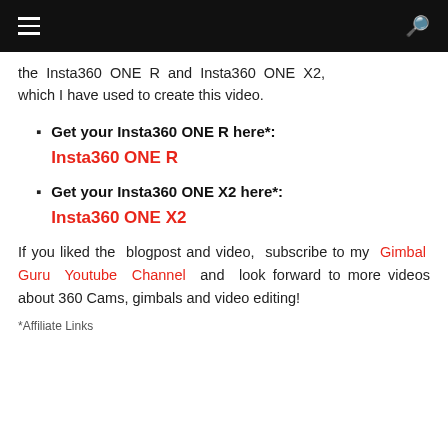≡  🔍
the Insta360 ONE R and Insta360 ONE X2, which I have used to create this video.
Get your Insta360 ONE R here*:
Insta360 ONE R
Get your Insta360 ONE X2 here*:
Insta360 ONE X2
If you liked the blogpost and video, subscribe to my Gimbal Guru Youtube Channel and look forward to more videos about 360 Cams, gimbals and video editing!
*Affiliate Links